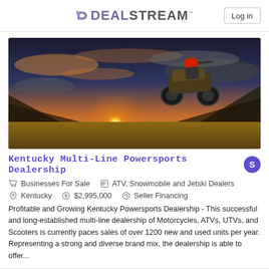DEALSTREAM™  Log in
[Figure (photo): ATV rider performing a jump against a dramatic sunset sky with mountains in the background]
Kentucky Multi-Line Powersports Dealership
Businesses For Sale   ATV, Snowmobile and Jetski Dealers
Kentucky   $2,995,000   Seller Financing
Profitable and Growing Kentucky Powersports Dealership - This successful and long-established multi-line dealership of Motorcycles, ATVs, UTVs, and Scooters is currently paces sales of over 1200 new and used units per year. Representing a strong and diverse brand mix, the dealership is able to offer...